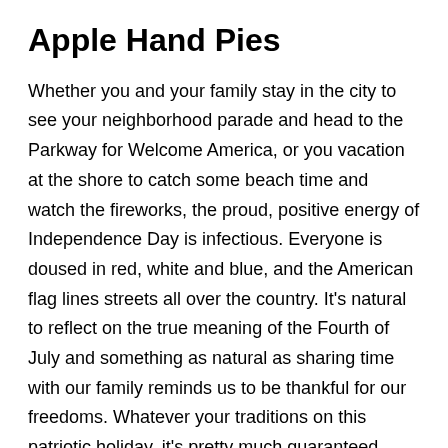Apple Hand Pies
Whether you and your family stay in the city to see your neighborhood parade and head to the Parkway for Welcome America, or you vacation at the shore to catch some beach time and watch the fireworks, the proud, positive energy of Independence Day is infectious. Everyone is doused in red, white and blue, and the American flag lines streets all over the country. It's natural to reflect on the true meaning of the Fourth of July and something as natural as sharing time with our family reminds us to be thankful for our freedoms. Whatever your traditions on this patriotic holiday, it's pretty much guaranteed you're attending a barbecue at a family member or friend's house and will be eating some pretty delicious food.